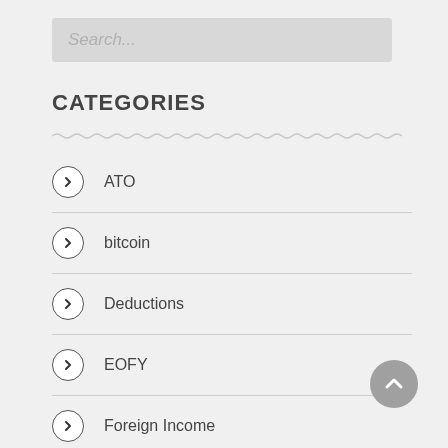Search...
CATEGORIES
ATO
bitcoin
Deductions
EOFY
Foreign Income
GST
LRBA
News